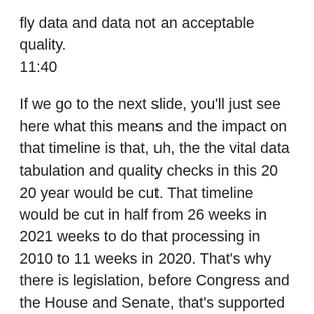fly data and data not an acceptable quality.
11:40

If we go to the next slide, you'll just see here what this means and the impact on that timeline is that, uh, the the vital data tabulation and quality checks in this 20 20 year would be cut. That timeline would be cut in half from 26 weeks in 2021 weeks to do that processing in 2010 to 11 weeks in 2020. That's why there is legislation, before Congress and the House and Senate, that's supported in a bipartisan way to extend that timelines. And the Bureau has time to process it. We recently saw a news yesterday that experts within the Census Bureau are saying that that 11 weeks is untenable, and at this point they are the data scientists are projecting delivery of the apportionment data between January 26th and February sixth. So that is kind of where we are right